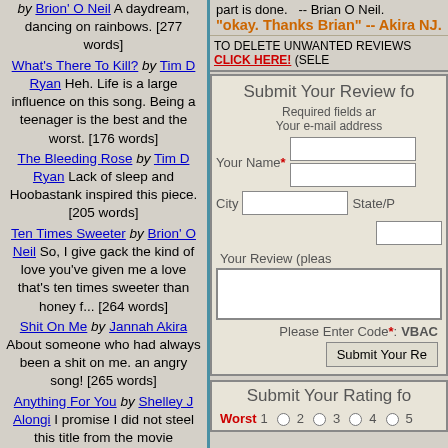by Brion' O Neil A daydream, dancing on rainbows. [277 words]
What's There To Kill? by Tim D Ryan Heh. Life is a large influence on this song. Being a teenager is the best and the worst. [176 words]
The Bleeding Rose by Tim D Ryan Lack of sleep and Hoobastank inspired this piece. [205 words]
Ten Times Sweeter by Brion' O Neil So, I give gack the kind of love you've given me a love that's ten times sweeter than honey f... [264 words]
Shit On Me by Jannah Akira About someone who had always been a shit on me. an angry song! [265 words]
Anything For You by Shelley J Alongi I promise I did not steel this title from the movie
part is done. -- Brian O Neil. "okay. Thanks Brian" -- Akira NJ.
TO DELETE UNWANTED REVIEWS CLICK HERE! (SELE...
Submit Your Review fo...
Required fields ar... Your e-mail address...
Your Name*
City  State/P...
Your Review (pleas...
Please Enter Code*: VBAC...
Submit Your Re...
Submit Your Rating fo...
Worst 1 2 3 4 5...